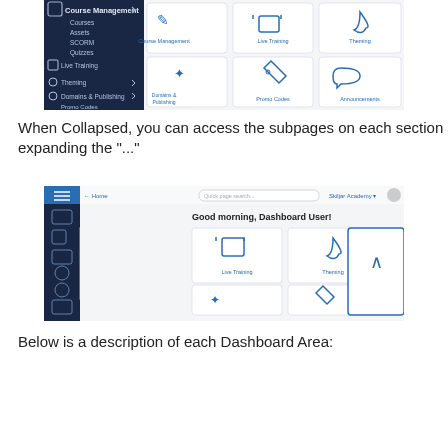[Figure (screenshot): Screenshot of a learning management system dashboard showing a left nav with Course Management (expanded with Courses, Assets, SCORM, Quizzes), Live Training, Theming, Domains & Publishing, Promo Codes. Right side shows icon tiles: Course Management, Live Training, Theming, Domains & Publishing, Promo Codes, Announcements.]
When Collapsed, you can access the subpages on each section by expanding the "..."
[Figure (screenshot): Screenshot of dashboard with a red arrow pointing to the Course Management item in the left nav. A dropdown shows: Course Management, Courses, Assets, SCORM, Quizzes. The greeting says 'Good morning, Dashboard User!' with top nav showing 'Skiljar Academy' and icon tiles for Live Training, Theming, and bottom row with Domains & Publishing icons.]
Below is a description of each Dashboard Area: